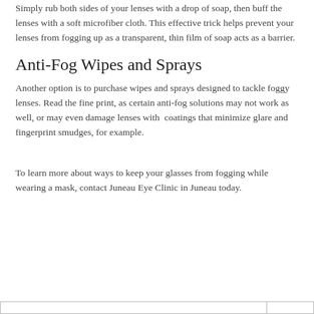Simply rub both sides of your lenses with a drop of soap, then buff the lenses with a soft microfiber cloth. This effective trick helps prevent your lenses from fogging up as a transparent, thin film of soap acts as a barrier.
Anti-Fog Wipes and Sprays
Another option is to purchase wipes and sprays designed to tackle foggy lenses. Read the fine print, as certain anti-fog solutions may not work as well, or may even damage lenses with  coatings that minimize glare and fingerprint smudges, for example.
To learn more about ways to keep your glasses from fogging while wearing a mask, contact Juneau Eye Clinic in Juneau today.